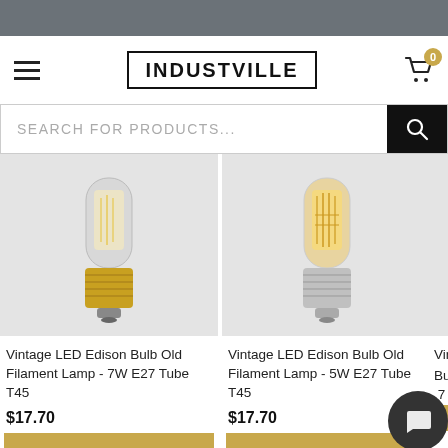INDUSTVILLE
SEARCH FOR PRODUCTS...
[Figure (photo): Vintage LED Edison Bulb Old Filament Lamp - 7W E27 Tube T45 product photo on gray background]
Vintage LED Edison Bulb Old Filament Lamp - 7W E27 Tube T45
$17.70
[Figure (photo): Vintage LED Edison Bulb Old Filament Lamp - 5W E27 Tube T45 product photo on gray background]
Vintage LED Edison Bulb Old Filament Lamp - 5W E27 Tube T45
$17.70
Vinta Bulb - .7